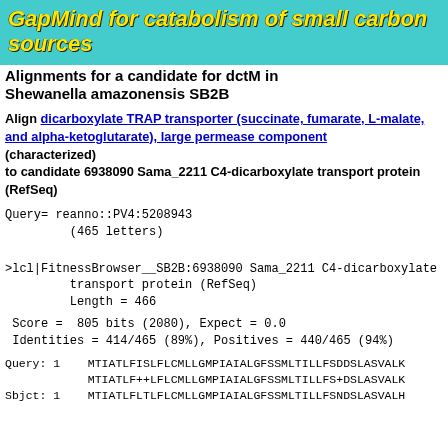GapMind for catabolism of small carbon sources
Alignments for a candidate for dctM in Shewanella amazonensis SB2B
Align dicarboxylate TRAP transporter (succinate, fumarate, L-malate, and alpha-ketoglutarate), large permease component (characterized)
to candidate 6938090 Sama_2211 C4-dicarboxylate transport protein (RefSeq)
Query= reanno::PV4:5208943
         (465 letters)
>lcl|FitnessBrowser__SB2B:6938090 Sama_2211 C4-dicarboxylate transport protein (RefSeq)
         Length = 466
Score =  805 bits (2080), Expect = 0.0
 Identities = 414/465 (89%), Positives = 440/465 (94%)
Query: 1    MTIATLFISLFLCMLLGMPIAIALGFSSMLTILLFSDDSLASVALK
            MTIATLF++LFLCMLLGMPIAIALGFSSMLTILLFS+DSLASVALK
Sbjct: 1    MTIATLFLTLFLCMLLGMPIAIALGFSSMLTILLFSNDSLASVALH